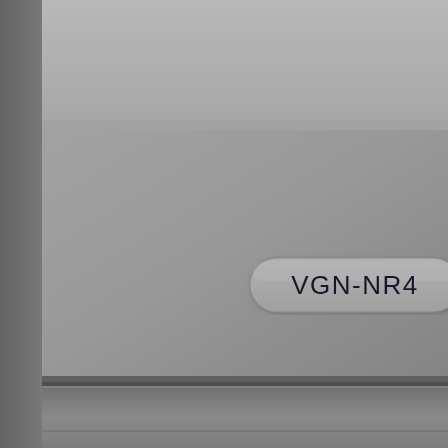[Figure (photo): Close-up photograph of a Sony laptop lid/back panel in silver/gray color showing a model number badge label reading 'VGN-NR4' (partially cropped). The badge is a rounded rectangle embossed into the silver surface. The image shows the laptop's exterior with a seam/hinge area visible at the bottom.]